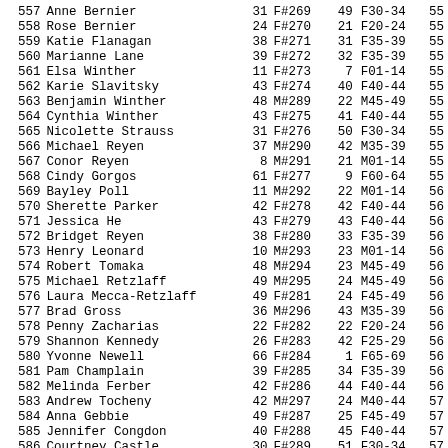| Rank | Name | Age | Bib | CRank | Cat | Time |
| --- | --- | --- | --- | --- | --- | --- |
| 557 | Anne Bernier | 31 | F#269 | 49 | F30-34 | 55 |
| 558 | Rose Bernier | 24 | F#270 | 21 | F20-24 | 55 |
| 559 | Katie Flanagan | 38 | F#271 | 31 | F35-39 | 55 |
| 560 | Marianne Lane | 39 | F#272 | 32 | F35-39 | 55 |
| 561 | Elsa Winther | 11 | F#273 | 7 | F01-14 | 55 |
| 562 | Karie Slavitsky | 43 | F#274 | 40 | F40-44 | 55 |
| 563 | Benjamin Winther | 48 | M#289 | 22 | M45-49 | 55 |
| 564 | Cynthia Winther | 43 | F#275 | 41 | F40-44 | 55 |
| 565 | Nicolette Strauss | 31 | F#276 | 50 | F30-34 | 55 |
| 566 | Michael Reyen | 37 | M#290 | 42 | M35-39 | 55 |
| 567 | Conor Reyen | 8 | M#291 | 21 | M01-14 | 55 |
| 568 | Cindy Gorgos | 61 | F#277 | 9 | F60-64 | 55 |
| 569 | Bayley Poll | 11 | M#292 | 22 | M01-14 | 56 |
| 570 | Sherette Parker | 42 | F#278 | 42 | F40-44 | 56 |
| 571 | Jessica He | 43 | F#279 | 43 | F40-44 | 56 |
| 572 | Bridget Reyen | 38 | F#280 | 33 | F35-39 | 56 |
| 573 | Henry Leonard | 10 | M#293 | 23 | M01-14 | 56 |
| 574 | Robert Tomaka | 48 | M#294 | 23 | M45-49 | 56 |
| 575 | Michael Retzlaff | 49 | M#295 | 24 | M45-49 | 56 |
| 576 | Laura Mecca-Retzlaff | 49 | F#281 | 24 | F45-49 | 56 |
| 577 | Brad Gross | 36 | M#296 | 43 | M35-39 | 56 |
| 578 | Penny Zacharias | 22 | F#282 | 22 | F20-24 | 56 |
| 579 | Shannon Kennedy | 26 | F#283 | 42 | F25-29 | 56 |
| 580 | Yvonne Newell | 66 | F#284 | 1 | F65-69 | 56 |
| 581 | Pam Champlain | 39 | F#285 | 34 | F35-39 | 56 |
| 582 | Melinda Ferber | 42 | F#286 | 44 | F40-44 | 56 |
| 583 | Andrew Tocheny | 42 | M#297 | 24 | M40-44 | 57 |
| 584 | Anna Gebbie | 49 | F#287 | 25 | F45-49 | 57 |
| 585 | Jennifer Congdon | 40 | F#288 | 45 | F40-44 | 57 |
| 586 | Courtney Castle | 30 | F#289 | 51 | F30-34 | 57 |